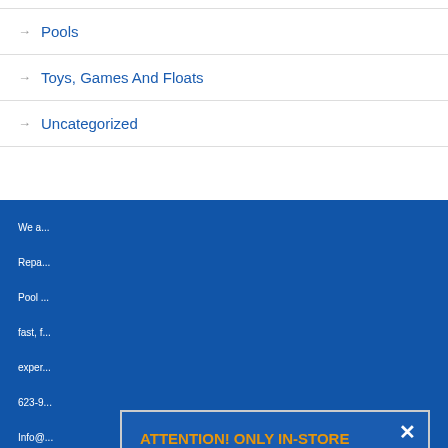→ Pools
→ Toys, Games And Floats
→ Uncategorized
We a... Repa... Pool ... fast, f... exper...
623-9... Info@... 5310...
ATTENTION! ONLY IN-STORE PURCHASES.
THIS BUSINESS DOES NOT SELL PRODUCTS ON AMAZON.
NO ORDERS SHALL BE FULFILLED ONLINE.